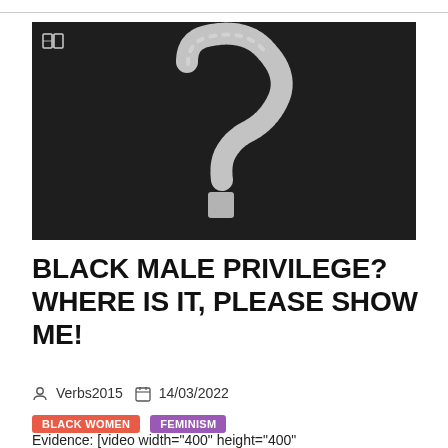[Figure (photo): Dark chalkboard background with a chalk-drawn question mark in the center; a small open book icon in the top-left corner of the image.]
BLACK MALE PRIVILEGE? WHERE IS IT, PLEASE SHOW ME!
Verbs2015   14/03/2022
BLACK WOMEN   FEMINISM
Evidence: [video width="400" height="400"